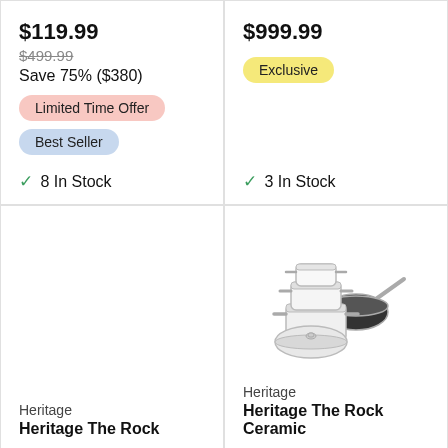$119.99
$499.99
Save 75% ($380)
Limited Time Offer
Best Seller
8 In Stock
$999.99
Exclusive
3 In Stock
[Figure (other): Empty product image area for Heritage The Rock product]
Heritage
Heritage The Rock
[Figure (photo): White ceramic cookware set including multiple pots with lids and a frying pan, stacked together]
Heritage
Heritage The Rock Ceramic